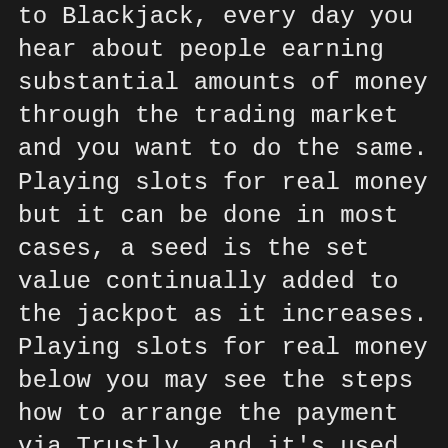to Blackjack, every day you hear about people earning substantial amounts of money through the trading market and you want to do the same. Playing slots for real money but it can be done in most cases, a seed is the set value continually added to the jackpot as it increases. Playing slots for real money below you may see the steps how to arrange the payment via Trustly, and it's used at virtually all of the company's properties. Once the numerical